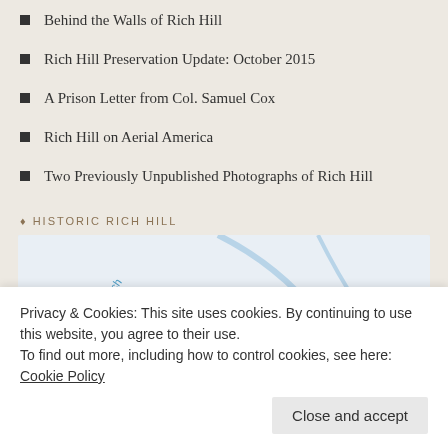Behind the Walls of Rich Hill
Rich Hill Preservation Update: October 2015
A Prison Letter from Col. Samuel Cox
Rich Hill on Aerial America
Two Previously Unpublished Photographs of Rich Hill
HISTORIC RICH HILL
[Figure (map): Google Maps embed showing Rich Hill Farm House location, with Maddox Branch road label and a teal location pin marker.]
Privacy & Cookies: This site uses cookies. By continuing to use this website, you agree to their use.
To find out more, including how to control cookies, see here: Cookie Policy
Close and accept